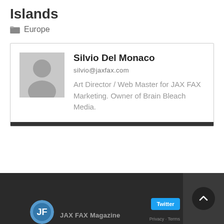Islands
Europe
[Figure (other): Author profile card with avatar placeholder, name Silvio Del Monaco, email silvio@jaxfax.com, bio: Art Director / Web Master for JAX FAX Marketing. Owner of Brain Bleach Media.]
JAX FAX Magazine footer with logo and Twitter button